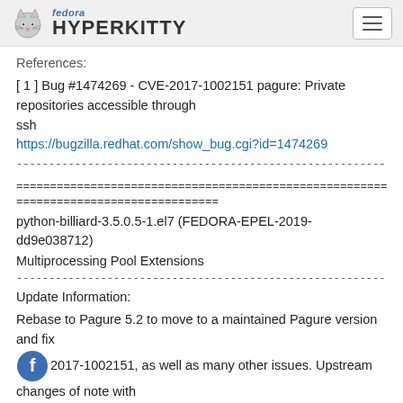fedora HYPERKITTY
References:
[ 1 ] Bug #1474269 - CVE-2017-1002151 pagure: Private repositories accessible through ssh
https://bugzilla.redhat.com/show_bug.cgi?id=1474269
--------------------------------------------------------------------------------
================================================================================
==============================
python-billiard-3.5.0.5-1.el7 (FEDORA-EPEL-2019-dd9e038712)
Multiprocessing Pool Extensions
--------------------------------------------------------------------------------
Update Information:

Rebase to Pagure 5.2 to move to a maintained Pagure version and fix
CVE-2017-1002151, as well as many other issues. Upstream changes of note with